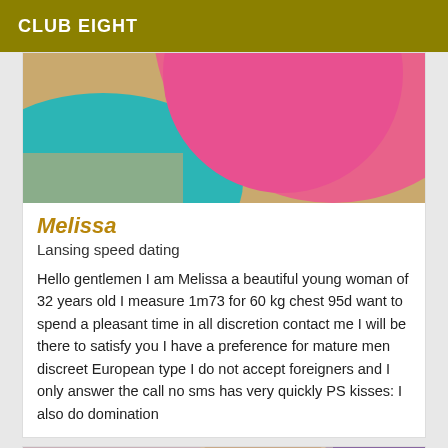CLUB EIGHT
[Figure (photo): Close-up photo showing pink and teal/blue fabric or balloon surfaces]
Melissa
Lansing speed dating
Hello gentlemen I am Melissa a beautiful young woman of 32 years old I measure 1m73 for 60 kg chest 95d want to spend a pleasant time in all discretion contact me I will be there to satisfy you I have a preference for mature men discreet European type I do not accept foreigners and I only answer the call no sms has very quickly PS kisses: I also do domination
[Figure (photo): Photo of a person with light hair resting on a tufted surface, partially cropped, with a VIP badge overlay]